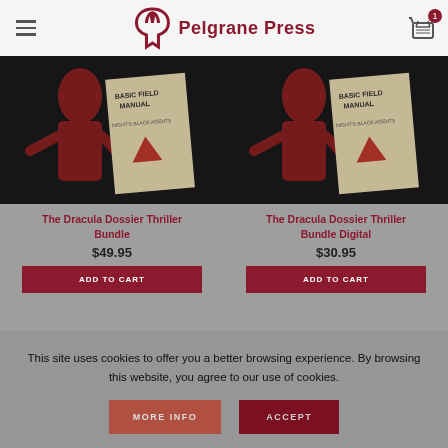Pelgrane Press
[Figure (photo): Book cover image for The Dracula Dossier Thriller Bundle showing a spy-themed illustration with a figure in red and a Basic Field Manual document]
The Dracula Dossier Thriller Bundle
$49.95
ADD TO CART
[Figure (photo): Book cover image for The Dracula Dossier Thriller Bundle Digital showing a spy-themed illustration with a figure in red and a Basic Field Manual document]
The Dracula Dossier Thriller Bundle Digital
$30.95
ADD TO CART
This site uses cookies to offer you a better browsing experience. By browsing this website, you agree to our use of cookies.
MORE INFO
ACCEPT